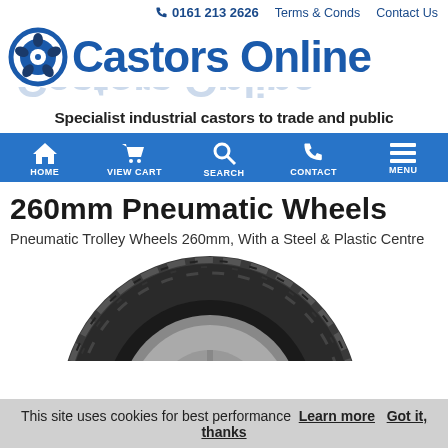📞 0161 213 2626  Terms & Conds  Contact Us
[Figure (logo): Castors Online logo with blue castor wheel icon and blue bold text 'Castors Online' with reflection]
Specialist industrial castors to trade and public
[Figure (infographic): Blue navigation bar with icons: HOME (house), VIEW CART (cart), SEARCH (magnifying glass), CONTACT (phone), MENU (hamburger)]
260mm Pneumatic Wheels
Pneumatic Trolley Wheels 260mm, With a Steel & Plastic Centre
[Figure (photo): Partial photo of a black pneumatic trolley wheel with grey centre hub, cropped at bottom of page]
This site uses cookies for best performance  Learn more  Got it, thanks